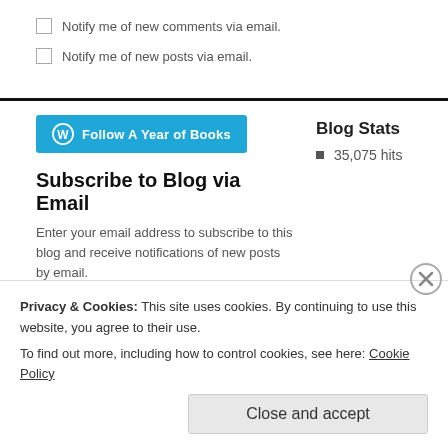Notify me of new comments via email.
Notify me of new posts via email.
[Figure (other): WordPress Follow button: 'Follow A Year of Books' in teal/blue]
Blog Stats
35,075 hits
Subscribe to Blog via Email
Enter your email address to subscribe to this blog and receive notifications of new posts by email.
Email Address
Subscribe
Privacy & Cookies: This site uses cookies. By continuing to use this website, you agree to their use.
To find out more, including how to control cookies, see here: Cookie Policy
Close and accept